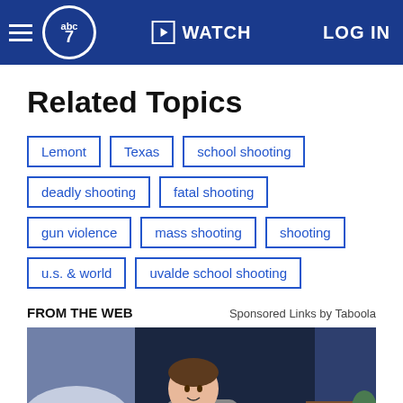abc7 WATCH LOG IN
Related Topics
Lemont
Texas
school shooting
deadly shooting
fatal shooting
gun violence
mass shooting
shooting
u.s. & world
uvalde school shooting
FROM THE WEB
Sponsored Links by Taboola
[Figure (illustration): Animated illustration of a young man with brown hair waking up in bed, digital clock showing 01:37 on nightstand, bedroom setting with window at night]